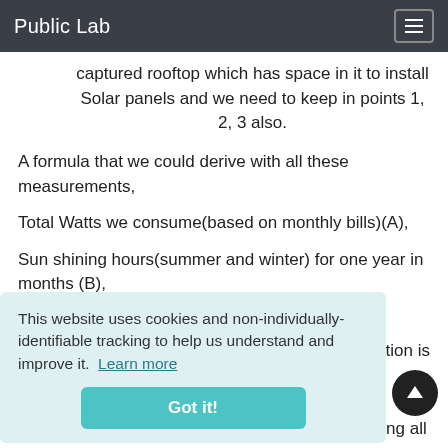Public Lab
captured rooftop which has space in it to install Solar panels and we need to keep in points 1, 2, 3 also.
A formula that we could derive with all these measurements,
Total Watts we consume(based on monthly bills)(A),
Sun shining hours(summer and winter) for one year in months (B),
This website uses cookies and non-individually-identifiable tracking to help us understand and improve it.  Learn more
Now, A/ B gives , 198/7 = 28.2 W (approx. inculding all